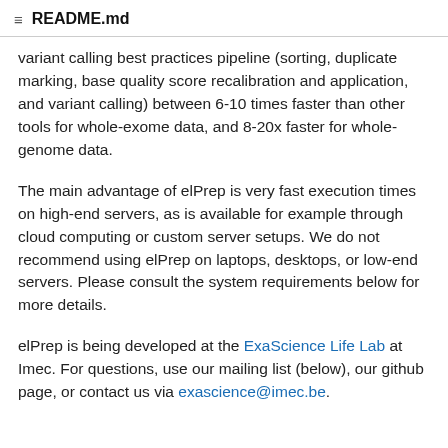README.md
variant calling best practices pipeline (sorting, duplicate marking, base quality score recalibration and application, and variant calling) between 6-10 times faster than other tools for whole-exome data, and 8-20x faster for whole-genome data.
The main advantage of elPrep is very fast execution times on high-end servers, as is available for example through cloud computing or custom server setups. We do not recommend using elPrep on laptops, desktops, or low-end servers. Please consult the system requirements below for more details.
elPrep is being developed at the ExaScience Life Lab at Imec. For questions, use our mailing list (below), our github page, or contact us via exascience@imec.be.